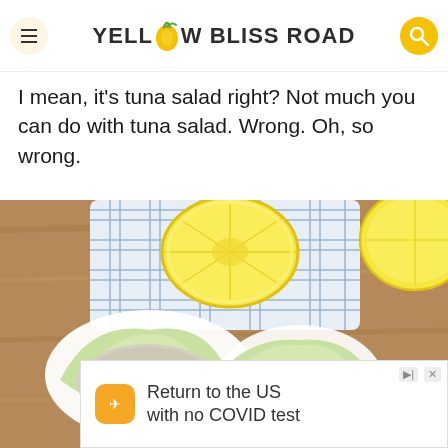YELLOW BLISS ROAD
I mean, it's tuna salad right? Not much you can do with tuna salad. Wrong. Oh, so wrong.
[Figure (photo): Overhead photo of tuna salad served in lettuce cups on a wooden cutting board with sliced lemons and a blue and white checkered cloth napkin]
[Figure (infographic): Advertisement banner: Return to the US with no COVID test, showing an orange travel app icon]